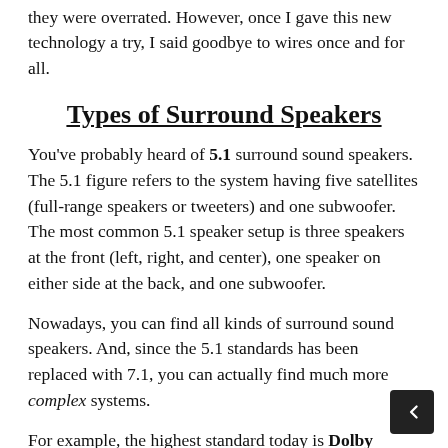they were overrated. However, once I gave this new technology a try, I said goodbye to wires once and for all.
Types of Surround Speakers
You've probably heard of 5.1 surround sound speakers. The 5.1 figure refers to the system having five satellites (full-range speakers or tweeters) and one subwoofer. The most common 5.1 speaker setup is three speakers at the front (left, right, and center), one speaker on either side at the back, and one subwoofer.
Nowadays, you can find all kinds of surround sound speakers. And, since the 5.1 standards has been replaced with 7.1, you can actually find much more complex systems.
For example, the highest standard today is Dolby Atmos, which supports up to 9.2.4 audio streams. It consists of nine face-level surround speakers, two subwoofers, and four